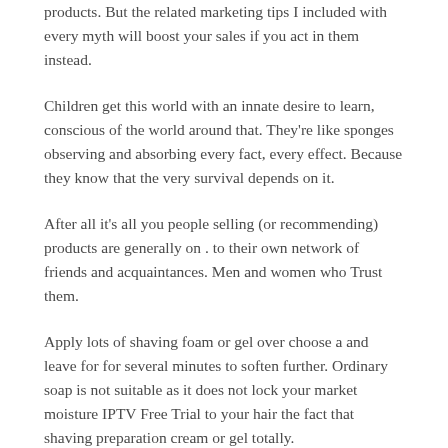products. But the related marketing tips I included with every myth will boost your sales if you act in them instead.
Children get this world with an innate desire to learn, conscious of the world around that. They're like sponges observing and absorbing every fact, every effect. Because they know that the very survival depends on it.
After all it's all you people selling (or recommending) products are generally on . to their own network of friends and acquaintances. Men and women who Trust them.
Apply lots of shaving foam or gel over choose a and leave for for several minutes to soften further. Ordinary soap is not suitable as it does not lock your market moisture IPTV Free Trial to your hair the fact that shaving preparation cream or gel totally.
The letter "M" on...